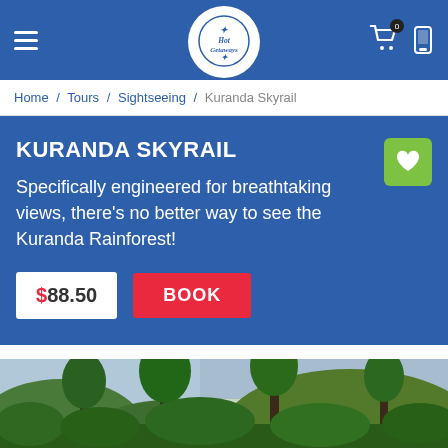Hot Getaways — navigation header with hamburger menu, logo, cart icon, and phone icon
Home / Tours / Sightseeing / Kuranda Skyrail
KURANDA SKYRAIL
Specifically engineered for breathtaking views, there's no better way to see the Kuranda Rainforest!
$88.50  BOOK
[Figure (photo): Lush green Kuranda rainforest with tall trees and tropical vegetation against a partly cloudy sky]